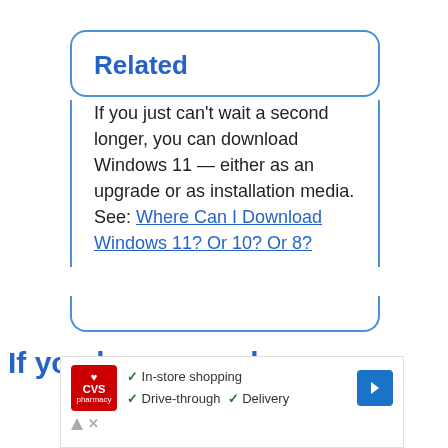Related
If you just can't wait a second longer, you can download Windows 11 — either as an upgrade or as installation media. See: Where Can I Download Windows 11? Or 10? Or 8?
If you know, you know
[Figure (other): CVS Pharmacy advertisement showing checkmarks for In-store shopping, Drive-through, and Delivery options with a navigation arrow icon]